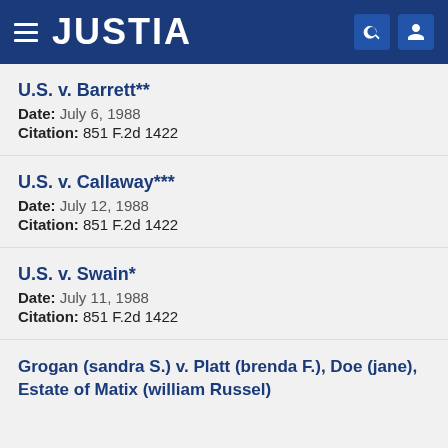JUSTIA
U.S. v. Barrett**
Date: July 6, 1988
Citation: 851 F.2d 1422
U.S. v. Callaway***
Date: July 12, 1988
Citation: 851 F.2d 1422
U.S. v. Swain*
Date: July 11, 1988
Citation: 851 F.2d 1422
Grogan (sandra S.) v. Platt (brenda F.), Doe (jane), Estate of Matix (william Russel)